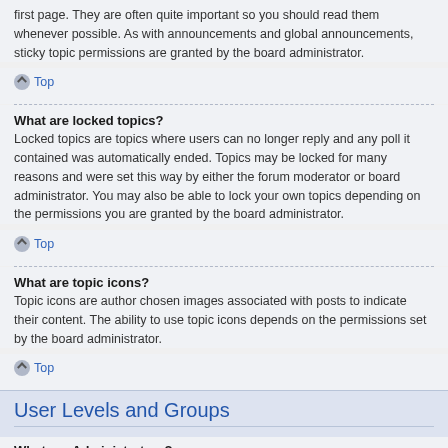first page. They are often quite important so you should read them whenever possible. As with announcements and global announcements, sticky topic permissions are granted by the board administrator.
Top
What are locked topics?
Locked topics are topics where users can no longer reply and any poll it contained was automatically ended. Topics may be locked for many reasons and were set this way by either the forum moderator or board administrator. You may also be able to lock your own topics depending on the permissions you are granted by the board administrator.
Top
What are topic icons?
Topic icons are author chosen images associated with posts to indicate their content. The ability to use topic icons depends on the permissions set by the board administrator.
Top
User Levels and Groups
What are Administrators?
Administrators are members assigned with the highest level of control over the